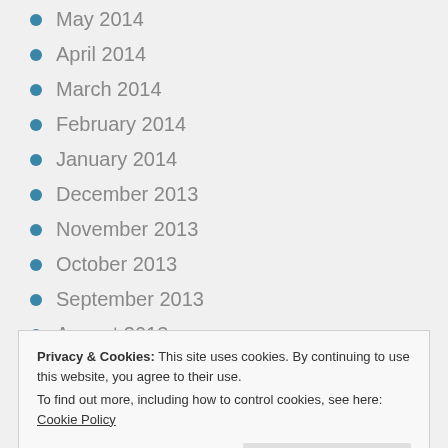May 2014
April 2014
March 2014
February 2014
January 2014
December 2013
November 2013
October 2013
September 2013
August 2013
July 2013
June 2013
May 2013
Privacy & Cookies: This site uses cookies. By continuing to use this website, you agree to their use.
To find out more, including how to control cookies, see here: Cookie Policy
December 2012